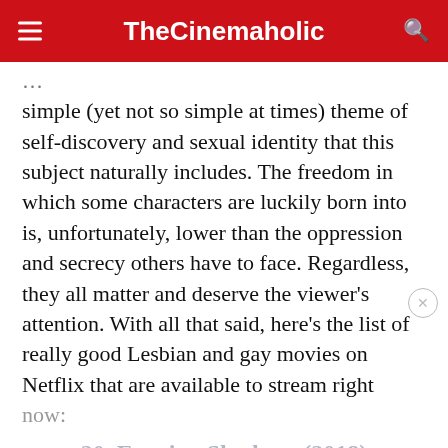TheCinemaholic
…simple (yet not so simple at times) theme of self-discovery and sexual identity that this subject naturally includes. The freedom in which some characters are luckily born into is, unfortunately, lower than the oppression and secrecy others have to face. Regardless, they all matter and deserve the viewer's attention. With all that said, here's the list of really good Lesbian and gay movies on Netflix that are available to stream right now:
20. Evening Shadows (2018)